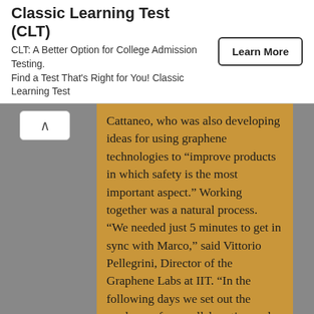[Figure (screenshot): Advertisement banner for Classic Learning Test (CLT) with title, description text, and a Learn More button]
Classic Learning Test (CLT)
CLT: A Better Option for College Admission Testing. Find a Test That's Right for You! Classic Learning Test
Cattaneo, who was also developing ideas for using graphene technologies to “improve products in which safety is the most important aspect.” Working together was a natural process. “We needed just 5 minutes to get in sync with Marco,” said Vittorio Pellegrini, Director of the Graphene Labs at IIT. “In the following days we set out the roadmap of our collaboration and after one month we started to work in the labs.” Pellegrini is also the leader of the Energy Storage Work Package of the Graphene Flagship and chair of its executive board.
The Graphene Flagship is working to bring a wide range of graphene-based technologies to marketable applications. Kari Hjelt is the leader of the Innovation Work Package and a member of the Flagship’s executive board. Of this collaboration, he said “The Graphene